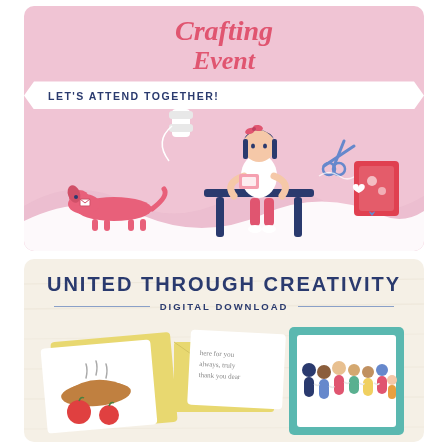[Figure (illustration): Pink crafting event card with a person crafting at a table, a dachshund dog, scissors, thread spool, and heart-decorated card. Title reads 'Crafting Event' in red italic font with a white banner stating 'LET'S ATTEND TOGETHER!']
Crafting Event
LET'S ATTEND TOGETHER!
[Figure (illustration): Light wood-textured background with greeting cards displayed. Title reads 'UNITED THROUGH CREATIVITY' with subtitle 'DIGITAL DOWNLOAD'. Cards show a pie/food illustration with apples, a handwritten note card, and people illustration.]
UNITED THROUGH CREATIVITY
DIGITAL DOWNLOAD